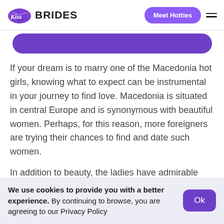Kiss Brides — Meet Hotties
[Figure (other): Partial purple rounded button/bar visible at top of content area]
If your dream is to marry one of the Macedonia hot girls, knowing what to expect can be instrumental in your journey to find love. Macedonia is situated in central Europe and is synonymous with beautiful women. Perhaps, for this reason, more foreigners are trying their chances to find and date such women.
In addition to beauty, the ladies have admirable characteristics. They are nurturers, good cooks, faithful wives, and perfect homemakers. Hence, what
We use cookies to provide you with a better experience. By continuing to browse, you are agreeing to our Privacy Policy